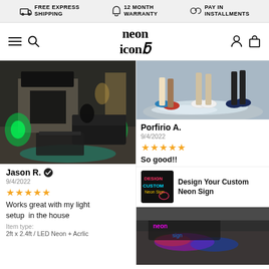FREE EXPRESS SHIPPING | 12 MONTH WARRANTY | PAY IN INSTALLMENTS
[Figure (logo): Neon Icons logo with hamburger menu and search icon on left, person and shopping bag icons on right]
[Figure (photo): Living room with green and teal neon lighting under furniture and behind fireplace, dark sofa and glass coffee table]
Jason R. ✔
9/4/2022
★★★★★
Works great with my light setup  in the house
Item type:
2ft x 2.4ft / LED Neon + Acrlic
[Figure (photo): Aerial view of three people's feet/shoes standing on sandy beach with white foam]
Porfirio A.
9/4/2022
★★★★★
So good!!
[Figure (photo): Design Your Custom Neon Sign product thumbnail showing colorful neon text sign]
Design Your Custom Neon Sign
[Figure (photo): Bottom right photo partially visible showing neon sign on ground]